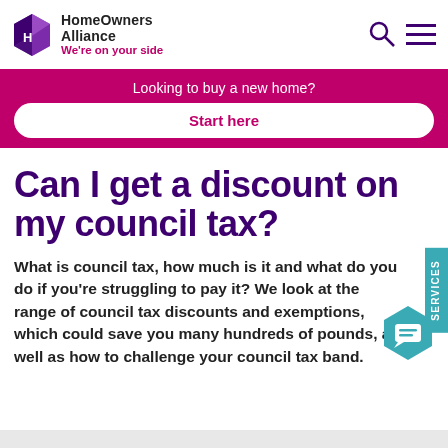HomeOwners Alliance – We're on your side
[Figure (infographic): Pink banner with text 'Looking to buy a new home?' and a white rounded button 'Start here']
Can I get a discount on my council tax?
What is council tax, how much is it and what do you do if you're struggling to pay it? We look at the range of council tax discounts and exemptions, which could save you many hundreds of pounds, as well as how to challenge your council tax band.